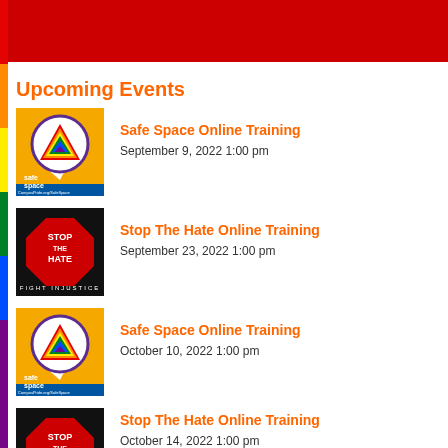Upcoming Events
[Figure (illustration): Safe space online training event thumbnail - orange background with rainbow triangle in speech bubble and 'safe space' text, CampusPride.org/SafeSpace]
Safe Space Online Training
September 9, 2022 1:00 pm
[Figure (illustration): Stop The Hate online training event thumbnail - black background with red octagon stop sign saying STOP THE HATE and FIGHT INJUSTICE text]
Stop The Hate Online Training
September 23, 2022 1:00 pm
[Figure (illustration): Safe space online training event thumbnail - orange background with rainbow triangle in speech bubble and 'safe space' text, CampusPride.org/SafeSpace]
Safe Space Online Training
October 10, 2022 1:00 pm
[Figure (illustration): Stop The Hate online training event thumbnail - black background with red octagon stop sign saying STOP THE HATE and FIGHT INJUSTICE text]
Stop The Hate Online Training
October 14, 2022 1:00 pm
[Figure (illustration): Safe space online training event thumbnail - partial view, orange background with rainbow triangle]
Safe Space Online Training